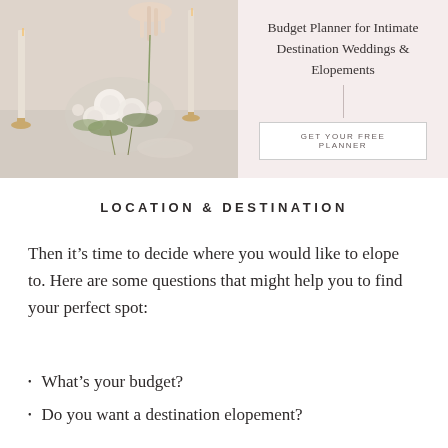[Figure (photo): Wedding table styling photo showing candles, floral arrangement with white roses and greenery, and a hand placing a flower, set against a light background. Right side has a blush pink panel with title text and a button.]
Budget Planner for Intimate Destination Weddings & Elopements
GET YOUR FREE PLANNER
LOCATION & DESTINATION
Then it’s time to decide where you would like to elope to. Here are some questions that might help you to find your perfect spot:
What’s your budget?
Do you want a destination elopement?